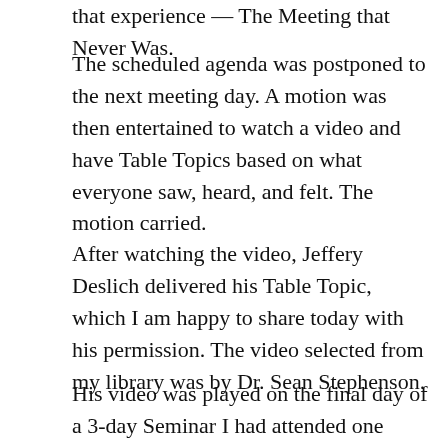that experience — The Meeting that Never Was.
The scheduled agenda was postponed to the next meeting day. A motion was then entertained to watch a video and have Table Topics based on what everyone saw, heard, and felt. The motion carried.
After watching the video, Jeffery Deslich delivered his Table Topic, which I am happy to share today with his permission. The video selected from my library was by Dr. Sean Stephenson.
His video was played on the final day of a 3-day Seminar I had attended one week earlier. Unfortunately, Dr. Sean Stephenson is now